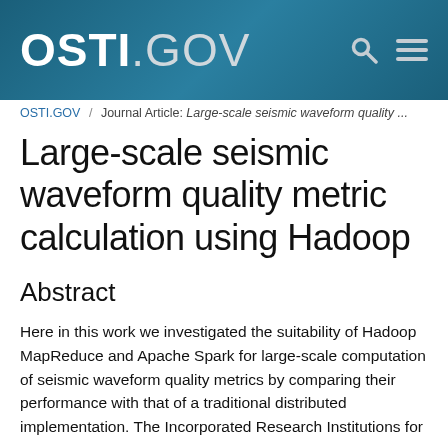OSTI.GOV
OSTI.GOV / Journal Article: Large-scale seismic waveform quality ...
Large-scale seismic waveform quality metric calculation using Hadoop
Abstract
Here in this work we investigated the suitability of Hadoop MapReduce and Apache Spark for large-scale computation of seismic waveform quality metrics by comparing their performance with that of a traditional distributed implementation. The Incorporated Research Institutions for